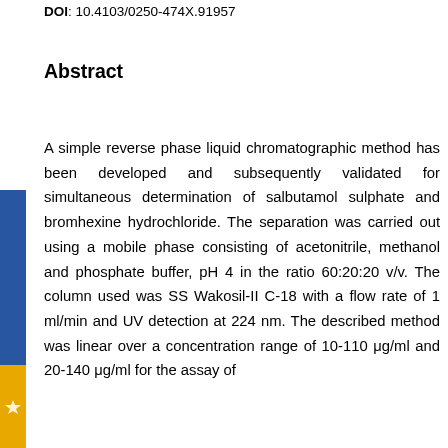DOI: 10.4103/0250-474X.91957
Abstract
A simple reverse phase liquid chromatographic method has been developed and subsequently validated for simultaneous determination of salbutamol sulphate and bromhexine hydrochloride. The separation was carried out using a mobile phase consisting of acetonitrile, methanol and phosphate buffer, pH 4 in the ratio 60:20:20 v/v. The column used was SS Wakosil-II C-18 with a flow rate of 1 ml/min and UV detection at 224 nm. The described method was linear over a concentration range of 10-110 μg/ml and 20-140 μg/ml for the assay of